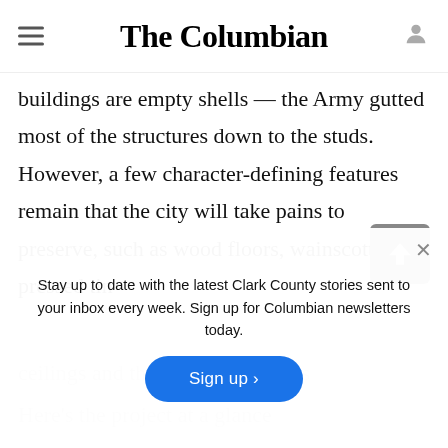The Columbian
vacant for decades. The exterior appearances won't change much, but the interiors will. The buildings are empty shells — the Army gutted most of the structures down to the studs. However, a few character-defining features remain that the city will take pains to preserve, such as wood floors, wainscotting, pressed tin ceilings and the original gracious
Here's the project at a glance
Stay up to date with the latest Clark County stories sent to your inbox every week. Sign up for Columbian newsletters today.
Sign up ›